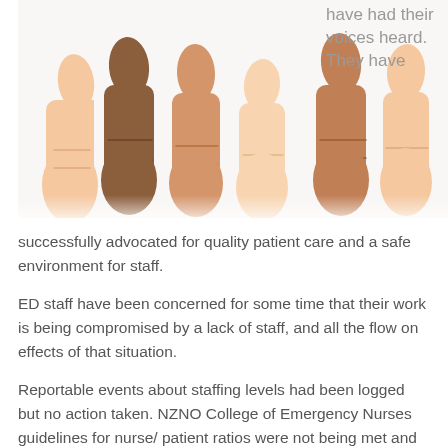[Figure (photo): Multiple thumbs up hands of diverse skin tones against a white background]
have had their voices heard. They have successfully advocated for quality patient care and a safe environment for staff.
ED staff have been concerned for some time that their work is being compromised by a lack of staff, and all the flow on effects of that situation.
Reportable events about staffing levels had been logged but no action taken. NZNO College of Emergency Nurses guidelines for nurse/ patient ratios were not being met and nursing staff were concerned about the potential for breaches of the Health and Disability Commission code of patient rights.